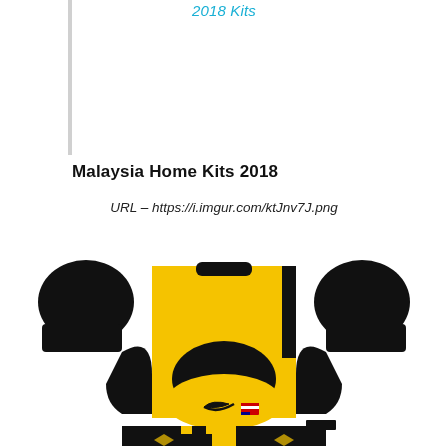2018 Kits
Malaysia Home Kits 2018
URL – https://i.imgur.com/ktJnv7J.png
[Figure (illustration): Malaysia Home Kit 2018 - Dream League Soccer kit template showing a yellow and black jersey (front view) with Nike swoosh and Malaysian flag badge, black shorts with yellow stripes, and black socks. The kit flat-lay also shows black sleeves/arms on the sides. Shorts are partially visible at the bottom.]